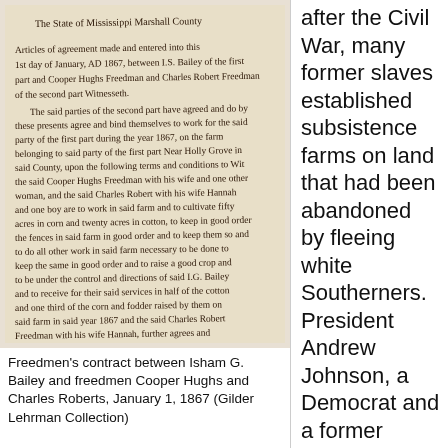[Figure (photo): A handwritten freedmen's labor contract on aged paper, written in cursive script. The document header reads 'The State of Mississippi Marshall County' followed by 'Articles of agreement made and entered into this 1st day of January, AD 1867, between I.S. Bailey of the first part and Cooper Hughs Freedman and Charles Robert Freedman of the second part Witnesseth...' The document continues with terms of labor on a farm, mentioning cotton and corn crops.]
Freedmen's contract between Isham G. Bailey and freedmen Cooper Hughs and Charles Roberts, January 1, 1867 (Gilder Lehrman Collection)
after the Civil War, many former slaves established subsistence farms on land that had been abandoned by fleeing white Southerners. President Andrew Johnson, a Democrat and a former slaveholder, soon restored this